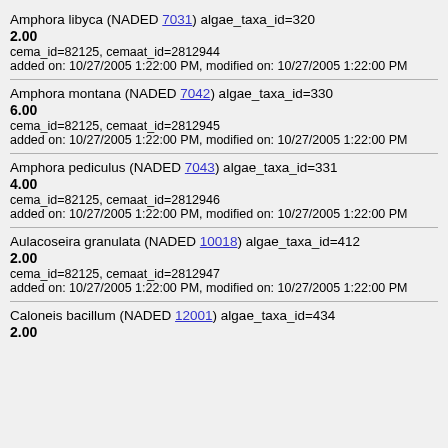Amphora libyca (NADED 7031) algae_taxa_id=320
2.00
cema_id=82125, cemaat_id=2812944
added on: 10/27/2005 1:22:00 PM, modified on: 10/27/2005 1:22:00 PM
Amphora montana (NADED 7042) algae_taxa_id=330
6.00
cema_id=82125, cemaat_id=2812945
added on: 10/27/2005 1:22:00 PM, modified on: 10/27/2005 1:22:00 PM
Amphora pediculus (NADED 7043) algae_taxa_id=331
4.00
cema_id=82125, cemaat_id=2812946
added on: 10/27/2005 1:22:00 PM, modified on: 10/27/2005 1:22:00 PM
Aulacoseira granulata (NADED 10018) algae_taxa_id=412
2.00
cema_id=82125, cemaat_id=2812947
added on: 10/27/2005 1:22:00 PM, modified on: 10/27/2005 1:22:00 PM
Caloneis bacillum (NADED 12001) algae_taxa_id=434
2.00